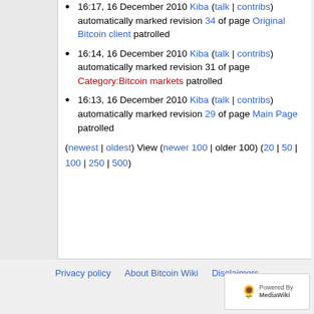16:17, 16 December 2010 Kiba (talk | contribs) automatically marked revision 34 of page Original Bitcoin client patrolled
16:14, 16 December 2010 Kiba (talk | contribs) automatically marked revision 31 of page Category:Bitcoin markets patrolled
16:13, 16 December 2010 Kiba (talk | contribs) automatically marked revision 29 of page Main Page patrolled
(newest | oldest) View (newer 100 | older 100) (20 | 50 | 100 | 250 | 500)
Privacy policy   About Bitcoin Wiki   Disclaimers